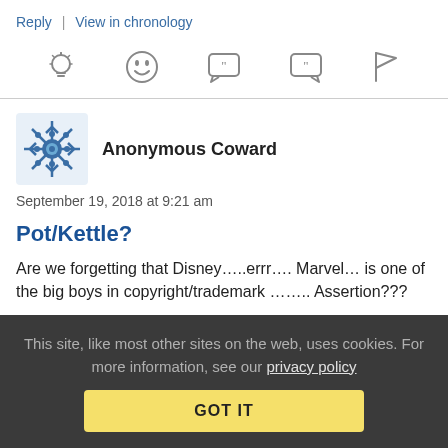Reply | View in chronology
[Figure (infographic): Row of five action icons: lightbulb, laughing emoji, speech bubble with quotes, speech bubble with quotes (filled), and flag]
Anonymous Coward
September 19, 2018 at 9:21 am
Pot/Kettle?
Are we forgetting that Disney.....errr.... Marvel… is one of the big boys in copyright/trademark …….. Assertion???
This site, like most other sites on the web, uses cookies. For more information, see our privacy policy
GOT IT